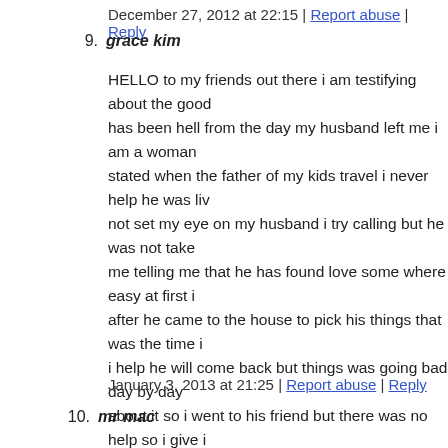December 27, 2012 at 22:15 | Report abuse | Reply
9. grace kim
HELLO to my friends out there i am testifying about the good has been hell from the day my husband left me i am a woman stated when the father of my kids travel i never help he was liv not set my eye on my husband i try calling but he was not take me telling me that he has found love some where easy at first i after he came to the house to pick his things that was the time i i help he will come back but things was going bad day by day about it so i went to his friend but there was no help so i give i on the the internet a spell caster i never believe on this but i ne the spell caster my problem at first i never trusted him so i was after three day my hasbond called me telling me that he his co but as at the six day the father to my kids came to the house as spell work to said to my self from that day i was happy with m dr.tubeShrine/Temple he his a great man you need to try him y problem so that he can be of help to you his content email is th :goodspelltemple@gmail.com indeed you are a priest thank yo home again. CAN NEVER STOP TALKING ABOUT YOU S IS:goodspelltemple@gmail.com CONTACT HIM NOW FOR PROBLEMS
January 3, 2013 at 21:25 | Report abuse | Reply
10. mr mac